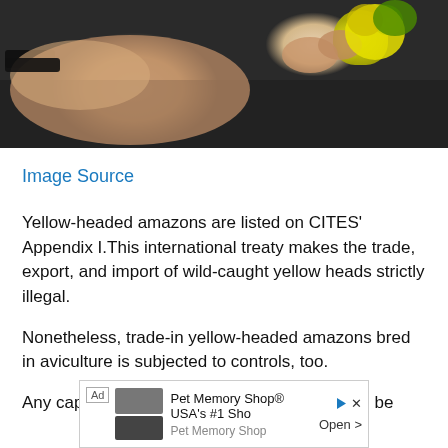[Figure (photo): Close-up photo of hands holding a yellow-headed amazon parrot, with a black watch visible on the wrist, against a dark background.]
Image Source
Yellow-headed amazons are listed on CITES' Appendix I.This international treaty makes the trade, export, and import of wild-caught yellow heads strictly illegal.
Nonetheless, trade-in yellow-headed amazons bred in aviculture is subjected to controls, too.
Any captive-bred yellow-headed amazons can be
[Figure (other): Advertisement banner for Pet Memory Shop - USA's #1 Shop. Shows memorial stone products with 'Open' button.]